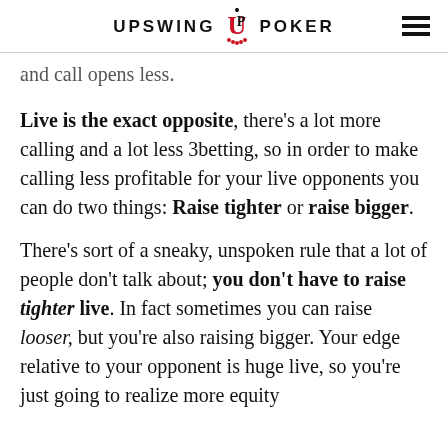UPSWING POKER
and call opens less.
Live is the exact opposite, there's a lot more calling and a lot less 3betting, so in order to make calling less profitable for your live opponents you can do two things: Raise tighter or raise bigger.
There's sort of a sneaky, unspoken rule that a lot of people don't talk about; you don't have to raise tighter live. In fact sometimes you can raise looser, but you're also raising bigger. Your edge relative to your opponent is huge live, so you're just going to realize more equity